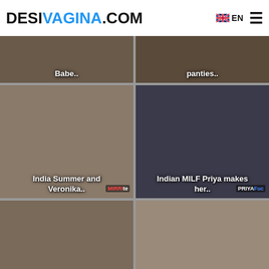DESIVAGINA.COM  EN  ☰
[Figure (photo): Partial thumbnail with label 'Babe..']
[Figure (photo): Partial thumbnail with label 'panties..']
[Figure (photo): Thumbnail labeled 'India Summer and Veronika..' with MIRRITe watermark]
[Figure (photo): Thumbnail labeled 'Indian MILF Priya makes her..' with PRIYAFuc watermark]
[Figure (photo): Thumbnail labeled 'Bihari whore Akhouri Deepa..']
[Figure (photo): Thumbnail labeled 'Mother Anal fucker India..' with RacyAn watermark]
[Figure (photo): Partial thumbnail row 4 left]
[Figure (photo): Partial thumbnail row 4 right]